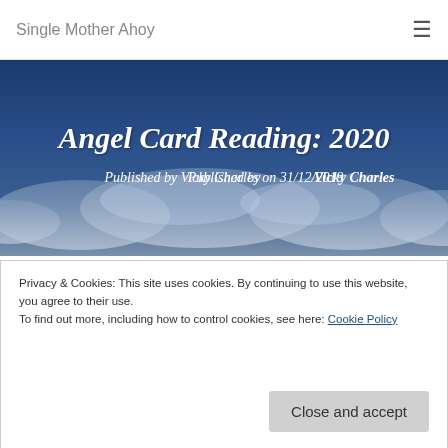Single Mother Ahoy
[Figure (photo): Hero banner image with dark blue sky and clouds background, containing article title and byline]
Angel Card Reading: 2020
Published by Vicky Charles on 31/12/2019
Welcome to this card reading for
Privacy & Cookies: This site uses cookies. By continuing to use this website, you agree to their use.
To find out more, including how to control cookies, see here: Cookie Policy